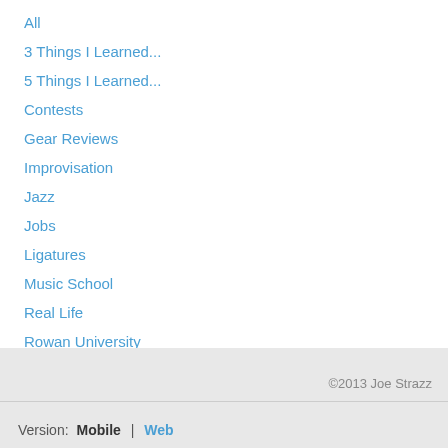All
3 Things I Learned...
5 Things I Learned...
Contests
Gear Reviews
Improvisation
Jazz
Jobs
Ligatures
Music School
Real Life
Rowan University
Silverstein Works
Updates
RSS Feed
©2013 Joe Strazz
Version: Mobile | Web